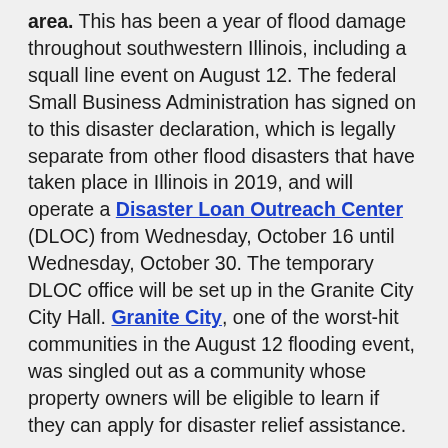area. This has been a year of flood damage throughout southwestern Illinois, including a squall line event on August 12. The federal Small Business Administration has signed on to this disaster declaration, which is legally separate from other flood disasters that have taken place in Illinois in 2019, and will operate a Disaster Loan Outreach Center (DLOC) from Wednesday, October 16 until Wednesday, October 30. The temporary DLOC office will be set up in the Granite City City Hall. Granite City, one of the worst-hit communities in the August 12 flooding event, was singled out as a community whose property owners will be eligible to learn if they can apply for disaster relief assistance.
Property owners who suffered damages in the August storm event will be able to use dates within this time frame to consult with DLOC professionals. These persons will be advised on how to file applications for relief from physical property damage by the deadline of